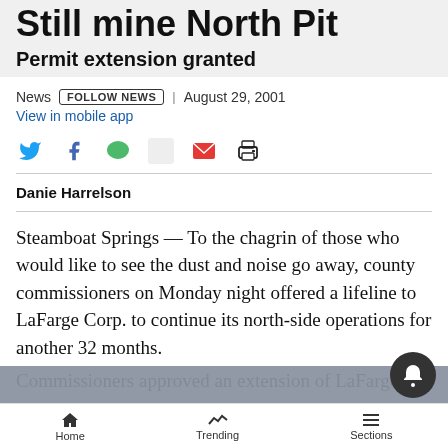Still mine North Pit
Permit extension granted
News | August 29, 2001
View in mobile app
Danie Harrelson
Steamboat Springs — To the chagrin of those who would like to see the dust and noise go away, county commissioners on Monday night offered a lifeline to LaFarge Corp. to continue its north-side operations for another 32 months.
Commissioners approved an extension of LaFarge's
Home  Trending  Sections